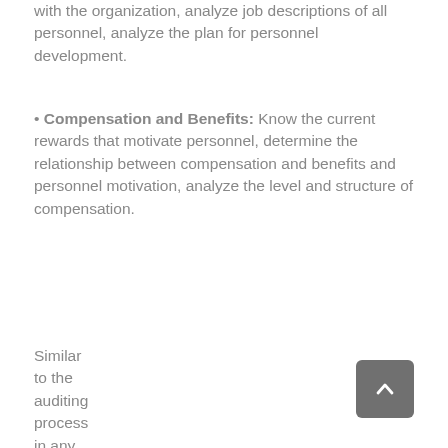with the organization, analyze job descriptions of all personnel, analyze the plan for personnel development.
Compensation and Benefits: Know the current rewards that motivate personnel, determine the relationship between compensation and benefits and personnel motivation, analyze the level and structure of compensation.
Similar to the auditing process in any